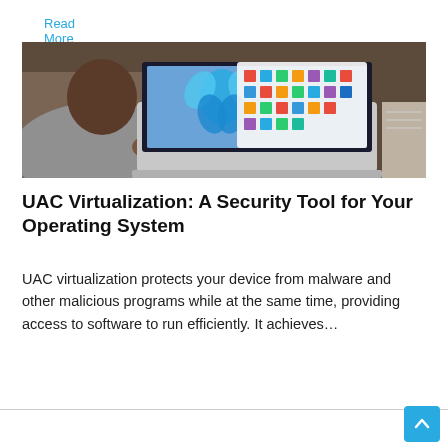Read More »
[Figure (photo): Person using a laptop showing Windows 11 Start menu on screen]
UAC Virtualization: A Security Tool for Your Operating System
UAC virtualization protects your device from malware and other malicious programs while at the same time, providing access to software to run efficiently. It achieves…
Read More »